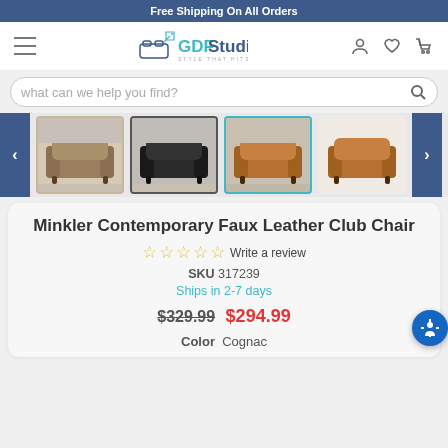Free Shipping On All Orders
[Figure (screenshot): GDF Studio navigation bar with hamburger menu, logo, user icon, heart/wishlist icon, and cart icon]
what can we help you find?
[Figure (photo): Product thumbnail gallery showing four club chairs: brown/taupe, dark charcoal/black, cognac/tan (selected with teal border), and cognac plain background. Navigation arrows on left and right.]
Minkler Contemporary Faux Leather Club Chair
☆☆☆☆☆ Write a review
SKU 317239
Ships in 2-7 days
$329.99  $294.99
Color  Cognac